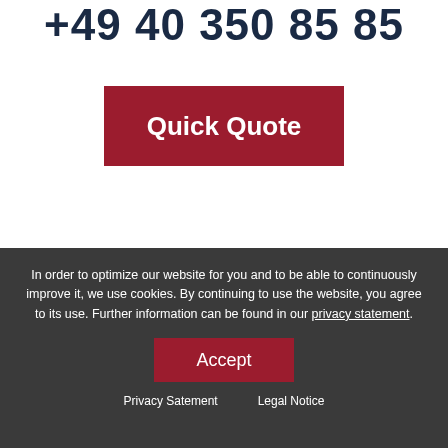+49 40 350 85 85
Quick Quote
In order to optimize our website for you and to be able to continuously improve it, we use cookies. By continuing to use the website, you agree to its use. Further information can be found in our privacy statement.
Accept
Privacy Satement    Legal Notice